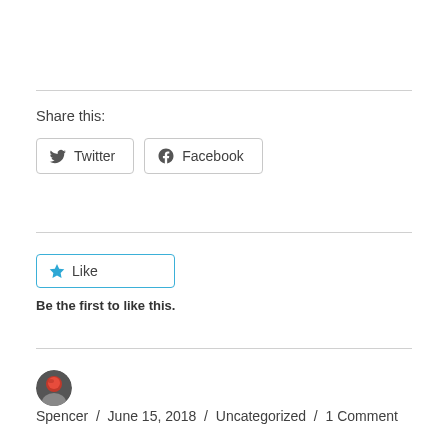Share this:
Twitter  Facebook
Like
Be the first to like this.
Spencer / June 15, 2018 / Uncategorized / 1 Comment